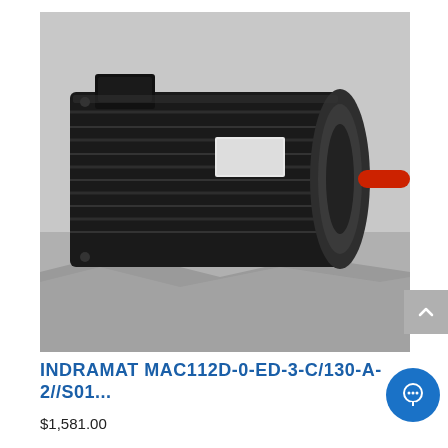[Figure (photo): Photo of a black industrial servo motor (Indramat MAC112D) with ribbed black aluminum housing, a red shaft protruding from the right end face, and a white label/connector on top-left, sitting on silver/gray packaging material.]
INDRAMAT MAC112D-0-ED-3-C/130-A-2//S01...
$1,581.00